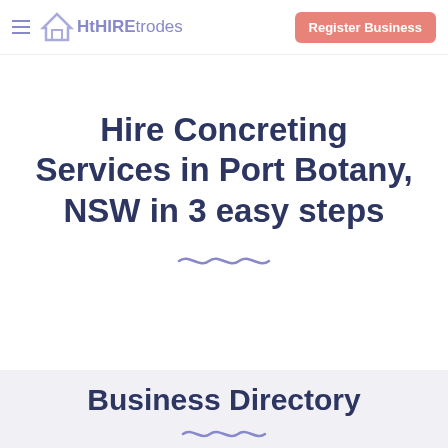≡ Ht HIREtrodes | Register Business
Home / Concreting / NSW / Port-botany
Hire Concreting Services in Port Botany, NSW in 3 easy steps
Business Directory